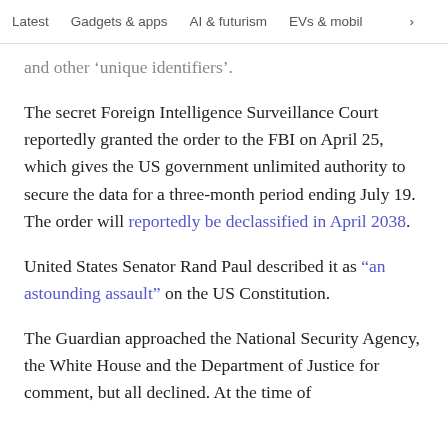Latest   Gadgets & apps   AI & futurism   EVs & mobil   >
and other 'unique identifiers'.
The secret Foreign Intelligence Surveillance Court reportedly granted the order to the FBI on April 25, which gives the US government unlimited authority to secure the data for a three-month period ending July 19. The order will reportedly be declassified in April 2038.
United States Senator Rand Paul described it as "an astounding assault" on the US Constitution.
The Guardian approached the National Security Agency, the White House and the Department of Justice for comment, but all declined. At the time of